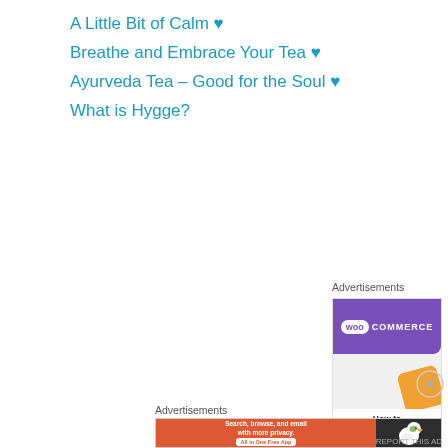A Little Bit of Calm ♥
Breathe and Embrace Your Tea ♥
Ayurveda Tea – Good for the Soul ♥
What is Hygge?
Advertisements
[Figure (screenshot): WooCommerce advertisement banner showing purple header with WooCommerce logo, orange graphic element, and text 'How to start selling']
Advertisements
[Figure (screenshot): DuckDuckGo advertisement: orange background with text 'Search, browse, and email with more privacy. All in One Free App' and dark panel with DuckDuckGo duck logo]
REPORT THIS AD